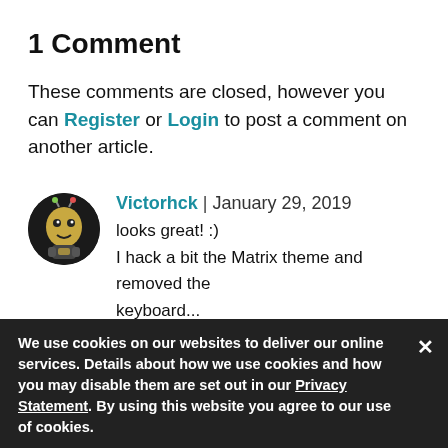1 Comment
These comments are closed, however you can Register or Login to post a comment on another article.
[Figure (illustration): Circular avatar image of user Victorhck showing a cartoon-style character with dark background]
Victorhck | January 29, 2019
looks great! :)
I hack a bit the Matrix theme and removed the keyboard...
Sharing in spanish in my blog:
https://victorhckinthefreeworld.com/2019/...
happy hac
We use cookies on our websites to deliver our online services. Details about how we use cookies and how you may disable them are set out in our Privacy Statement. By using this website you agree to our use of cookies.